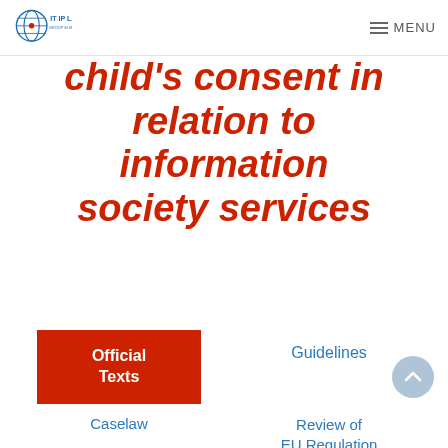IT IP LAW GROUP EUROPE | MENU
child's consent in relation to information society services
Official Texts
Guidelines
Caselaw
Review of EU Regulation